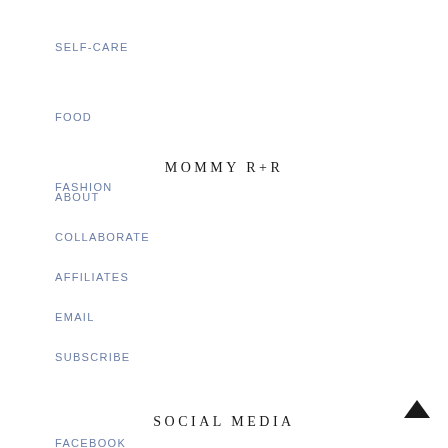SELF-CARE
FOOD
FASHION
MOMMY R+R
ABOUT
COLLABORATE
AFFILIATES
EMAIL
SUBSCRIBE
SOCIAL MEDIA
FACEBOOK